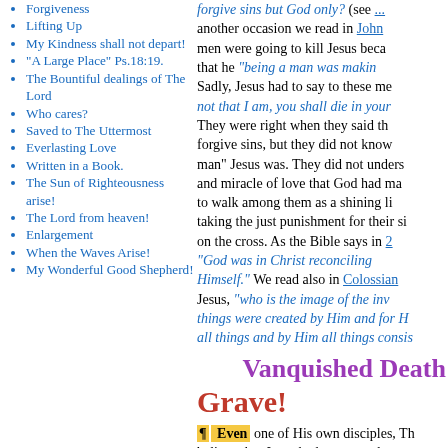Forgiveness
Lifting Up
My Kindness shall not depart!
"A Large Place" Ps.18:19.
The Bountiful dealings of The Lord
Who cares?
Saved to The Uttermost
Everlasting Love
Written in a Book.
The Sun of Righteousness arise!
The Lord from heaven!
Enlargement
When the Waves Arise!
My Wonderful Good Shepherd!
forgive sins but God only? (see ... another occasion we read in John ... men were going to kill Jesus because that he "being a man was making... Sadly, Jesus had to say to these me... not that I am, you shall die in your... They were right when they said tha... forgive sins, but they did not know ... man" Jesus was. They did not unders... and miracle of love that God had ma... to walk among them as a shining li... taking the just punishment for their si... on the cross. As the Bible says in 2... "God was in Christ reconciling ... Himself." We read also in Colossian... Jesus, "who is the image of the inv... things were created by Him and for H... all things and by Him all things consis...
Vanquished Death and Grave!
¶ Even one of His own disciples, Th... believe that Jesus had conquered ... grave and was alive again, and sa... "except I shall see in His hands the ... and put my finger into the print of the... my hand into His side, I will not be... heard his words and a few days later...